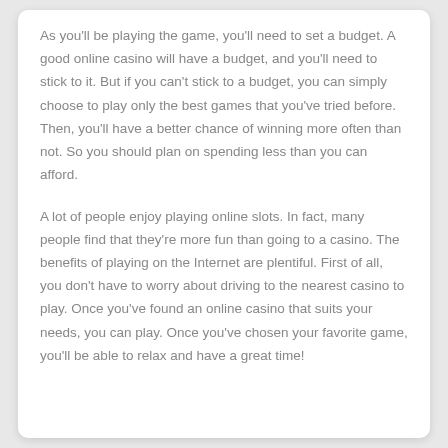As you'll be playing the game, you'll need to set a budget. A good online casino will have a budget, and you'll need to stick to it. But if you can't stick to a budget, you can simply choose to play only the best games that you've tried before. Then, you'll have a better chance of winning more often than not. So you should plan on spending less than you can afford.
A lot of people enjoy playing online slots. In fact, many people find that they're more fun than going to a casino. The benefits of playing on the Internet are plentiful. First of all, you don't have to worry about driving to the nearest casino to play. Once you've found an online casino that suits your needs, you can play. Once you've chosen your favorite game, you'll be able to relax and have a great time!